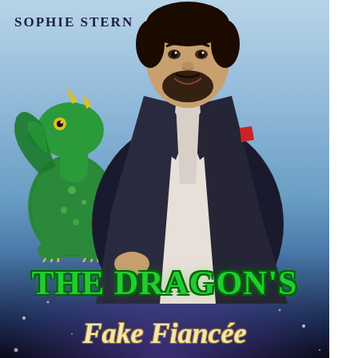[Figure (illustration): Book cover for 'The Dragon's Fake Fiancée' by Sophie Stern. Shows a handsome man in a dark suit with an open white shirt and red pocket square, standing in front of a misty blue background. A small green dragon with yellow horns stands to his left. Bold green serif text at the bottom reads 'THE DRAGON'S' and gold italic script reads 'Fake Fiancée'. Author name 'SOPHIE STERN' appears at the top left in dark serif font.]